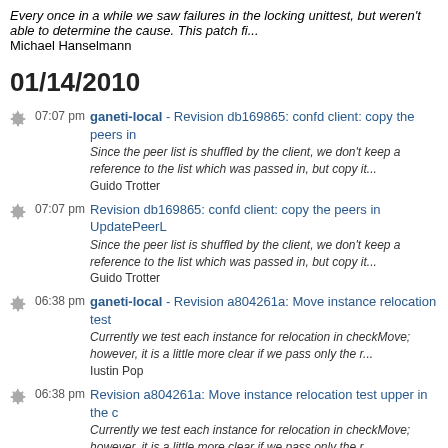Every once in a while we saw failures in the locking unittest, but weren't able to determine the cause. This patch fi...
Michael Hanselmann
01/14/2010
07:07 pm ganeti-local - Revision db169865: confd client: copy the peers in...
Since the peer list is shuffled by the client, we don't keep a reference to the list which was passed in, but copy it...
Guido Trotter
07:07 pm Revision db169865: confd client: copy the peers in UpdatePeerL...
Since the peer list is shuffled by the client, we don't keep a reference to the list which was passed in, but copy it...
Guido Trotter
06:38 pm ganeti-local - Revision a804261a: Move instance relocation test...
Currently we test each instance for relocation in checkMove; however, it is a little more clear if we pass only the r...
Iustin Pop
06:38 pm Revision a804261a: Move instance relocation test upper in the c...
Currently we test each instance for relocation in checkMove; however, it is a little more clear if we pass only the r...
Iustin Pop
06:05 pm Revision 5ad86777: Split the balancing function in two parts
Currently in the balancing function we do two thing:
- take the decision where to do a new balancing round or not
- ...
Iustin Pop
06:05 pm ganeti-local - Revision 5ad86777: Split the balancing function in...
Currently the balancing function we do two thing: